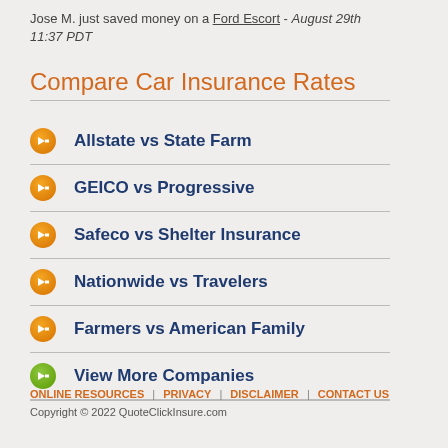Jose M. just saved money on a Ford Escort - August 29th 11:37 PDT
Compare Car Insurance Rates
Allstate vs State Farm
GEICO vs Progressive
Safeco vs Shelter Insurance
Nationwide vs Travelers
Farmers vs American Family
View More Companies
ONLINE RESOURCES | PRIVACY | DISCLAIMER | CONTACT US
Copyright © 2022 QuoteClickInsure.com